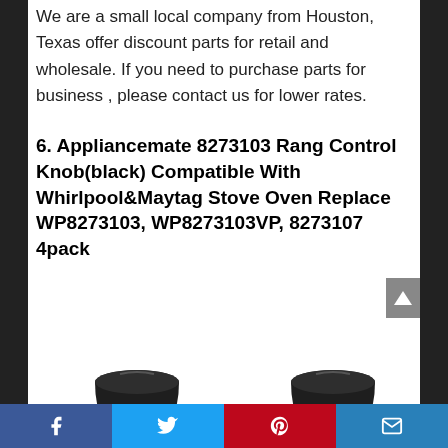We are a small local company from Houston, Texas offer discount parts for retail and wholesale. If you need to purchase parts for business , please contact us for lower rates.
6. Appliancemate 8273103 Rang Control Knob(black) Compatible With Whirlpool&Maytag Stove Oven Replace WP8273103, WP8273103VP, 8273107 4pack
[Figure (photo): ApplianceMate brand logo and two dark/black oven control knobs photographed against a white background.]